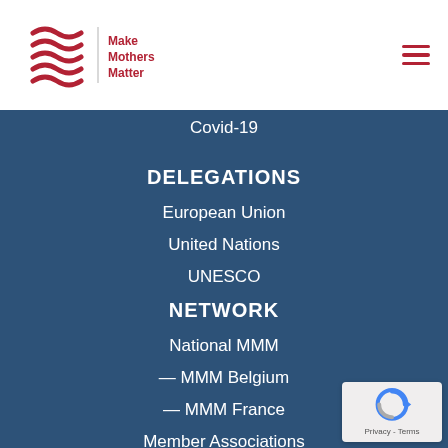Make Mothers Matter
Covid-19
DELEGATIONS
European Union
United Nations
UNESCO
NETWORK
National MMM
— MMM Belgium
— MMM France
Member Associations